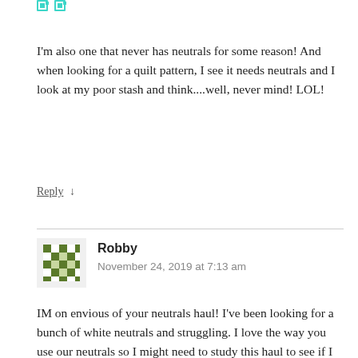[Figure (illustration): Teal/cyan pixel art avatar icon at top left]
I'm also one that never has neutrals for some reason! And when looking for a quilt pattern, I see it needs neutrals and I look at my poor stash and think....well, never mind! LOL!
Reply ↓
[Figure (illustration): Green pixel art avatar icon for commenter Robby]
Robby
November 24, 2019 at 7:13 am
IM on envious of your neutrals haul! I've been looking for a bunch of white neutrals and struggling. I love the way you use our neutrals so I might need to study this haul to see if I can learn something about choosing them.